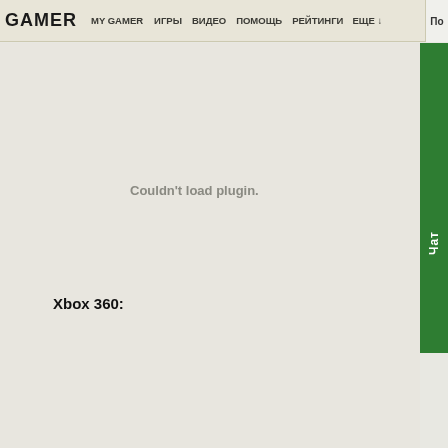GAMER  MY GAMER  ИГРЫ  ВИДЕО  ПОМОЩЬ  РЕЙТИНГИ  ЕЩЕ  По
[Figure (screenshot): Video plugin area showing 'Couldn't load plugin.' error message on gray background]
Couldn't load plugin.
Xbox 360: